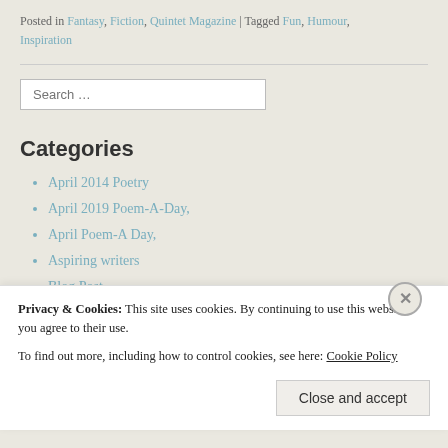Posted in Fantasy, Fiction, Quintet Magazine | Tagged Fun, Humour, Inspiration
Categories
April 2014 Poetry
April 2019 Poem-A-Day,
April Poem-A Day,
Aspiring writers
Blog Post
Book Review
Privacy & Cookies: This site uses cookies. By continuing to use this website, you agree to their use. To find out more, including how to control cookies, see here: Cookie Policy